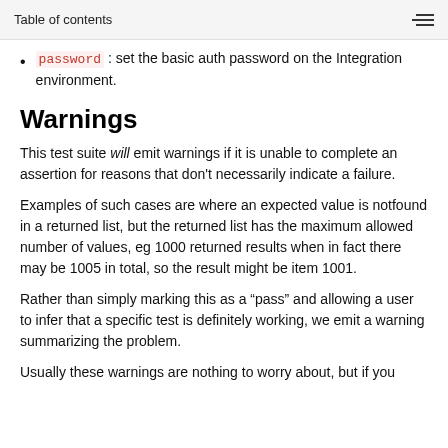Table of contents
password : set the basic auth password on the Integration environment.
Warnings
This test suite will emit warnings if it is unable to complete an assertion for reasons that don't necessarily indicate a failure.
Examples of such cases are where an expected value is notfound in a returned list, but the returned list has the maximum allowed number of values, eg 1000 returned results when in fact there may be 1005 in total, so the result might be item 1001.
Rather than simply marking this as a “pass” and allowing a user to infer that a specific test is definitely working, we emit a warning summarizing the problem.
Usually these warnings are nothing to worry about, but if you